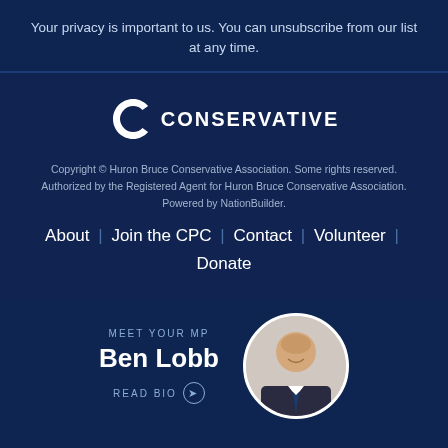Your privacy is important to us. You can unsubscribe from our list at any time.
[Figure (logo): Conservative Party of Canada logo — letter C with maple leaf star inside, followed by CONSERVATIVE text]
Copyright © Huron Bruce Conservative Association. Some rights reserved. Authorized by the Registered Agent for Huron Bruce Conservative Association. Powered by NationBuilder.
About | Join the CPC | Contact | Volunteer | Donate
MEET YOUR MP Ben Lobb READ BIO ❯
[Figure (photo): Circular headshot photo of Ben Lobb, a bald man in a dark suit and tie, smiling]